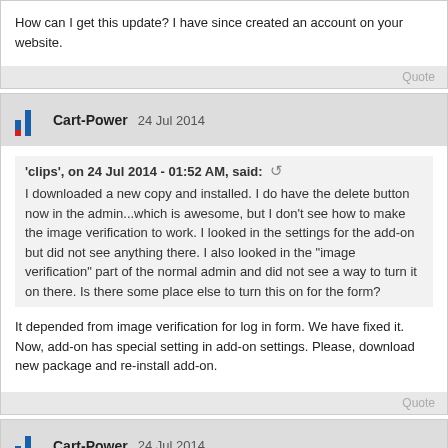How can I get this update? I have since created an account on your website.
Quote
Cart-Power 24 Jul 2014
'clips', on 24 Jul 2014 - 01:52 AM, said:
I downloaded a new copy and installed. I do have the delete button now in the admin...which is awesome, but I don't see how to make the image verification to work. I looked in the settings for the add-on but did not see anything there. I also looked in the "image verification" part of the normal admin and did not see a way to turn it on there. Is there some place else to turn this on for the form?
It depended from image verification for log in form. We have fixed it. Now, add-on has special setting in add-on settings. Please, download new package and re-install add-on.
Quote
Cart-Power 24 Jul 2014